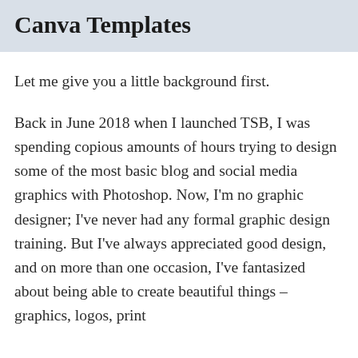Canva Templates
Let me give you a little background first.
Back in June 2018 when I launched TSB, I was spending copious amounts of hours trying to design some of the most basic blog and social media graphics with Photoshop. Now, I'm no graphic designer; I've never had any formal graphic design training. But I've always appreciated good design, and on more than one occasion, I've fantasized about being able to create beautiful things – graphics, logos, print